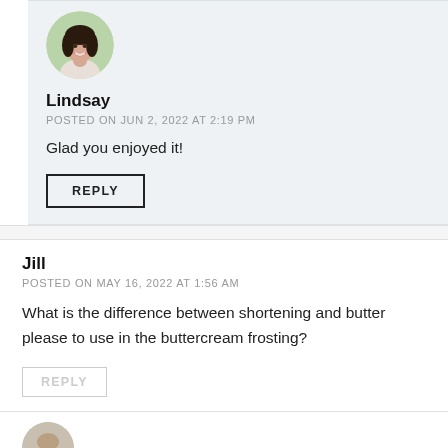[Figure (photo): Circular avatar photo of Lindsay, a woman with dark wavy hair, smiling outdoors]
Lindsay
POSTED ON JUN 2, 2022 AT 2:19 PM
Glad you enjoyed it!
REPLY
Jill
POSTED ON MAY 16, 2022 AT 1:56 AM
What is the difference between shortening and butter please to use in the buttercream frosting?
REPLY
[Figure (photo): Partial circular avatar at bottom of page]